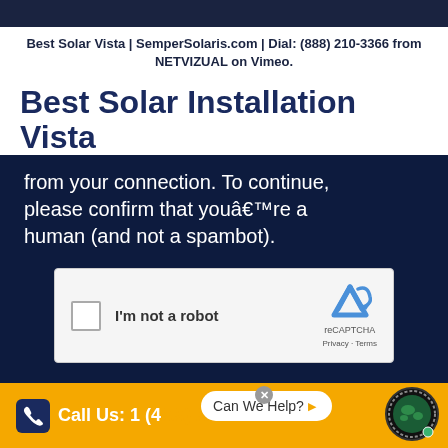Best Solar Vista | SemperSolaris.com | Dial: (888) 210-3366 from NETVIZUAL on Vimeo.
Best Solar Installation Vista
from your connection. To continue, please confirm that youâ€™re a human (and not a spambot).
[Figure (screenshot): reCAPTCHA widget with checkbox labeled I'm not a robot and reCAPTCHA Privacy Terms logo]
Can We Help?   Call Us: 1 (4XX) XXX-XXXX